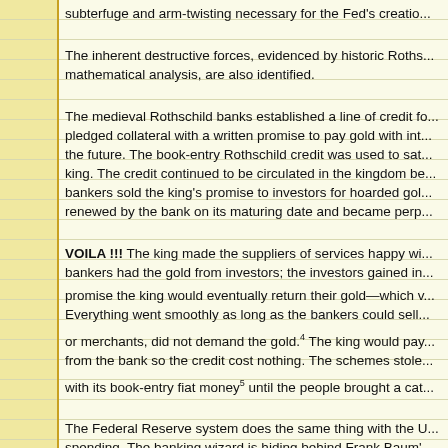subterfuge and arm-twisting necessary for the Fed's creatio...
The inherent destructive forces, evidenced by historic Roths... mathematical analysis, are also identified.
The medieval Rothschild banks established a line of credit f... pledged collateral with a written promise to pay gold with int... the future. The book-entry Rothschild credit was used to sat... king. The credit continued to be circulated in the kingdom be... bankers sold the king's promise to investors for hoarded gol... renewed by the bank on its maturing date and became perp...
VOILA !!! The king made the suppliers of services happy wi... bankers had the gold from investors; the investors gained in...
promise the king would eventually return their gold—which v... Everything went smoothly as long as the bankers could sell...
or merchants, did not demand the gold.4 The king would pay... from the bank so the credit cost nothing. The schemes stole...
with its book-entry fiat money5 until the people brought a cat...
The Federal Reserve system does the same thing with the U... spending. The banking wizard is hiding behind Frank Baum'...
image Federal Reserve marquee7 as obscurant to any publi... Reserve Bank of New York will grant credit (not "create mon...